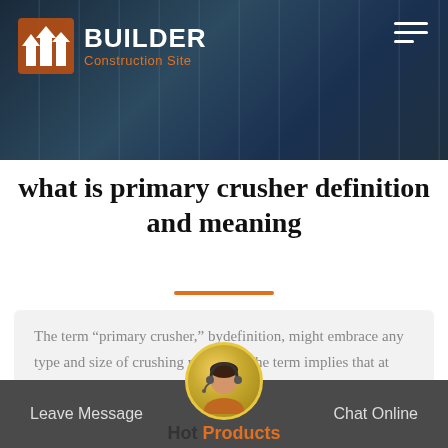BUILDER Construction Site
what is primary crusher definition and meaning
The term “primary crusher,” bydefinition, might embrace any type and size of crushing machine. The term implies that at least two stages of crushing are involved, but in ma…
Leave Message   Chat Online   Hot Products